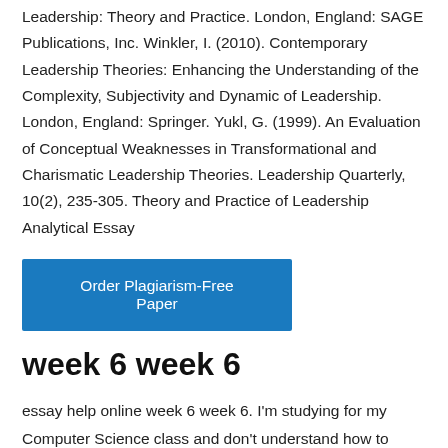Leadership: Theory and Practice. London, England: SAGE Publications, Inc. Winkler, I. (2010). Contemporary Leadership Theories: Enhancing the Understanding of the Complexity, Subjectivity and Dynamic of Leadership. London, England: Springer. Yukl, G. (1999). An Evaluation of Conceptual Weaknesses in Transformational and Charismatic Leadership Theories. Leadership Quarterly, 10(2), 235-305. Theory and Practice of Leadership Analytical Essay
[Figure (other): Blue button labeled 'Order Plagiarism-Free Paper']
week 6 week 6
essay help online week 6 week 6. I'm studying for my Computer Science class and don't understand how to answer this. Can you help me study?
e-book MIS Read Ch. 6 – Data Communication: Delivering Information Anywhere and Anytime